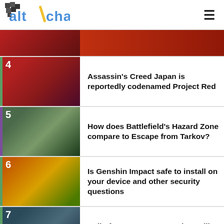[Figure (logo): AltChar logo - pixel art style gaming site logo with yellow diagonal slash]
[Figure (photo): Partial thumbnail of article 3 - dark reddish game screenshot]
4 Assassin's Creed Japan is reportedly codenamed Project Red
5 How does Battlefield's Hazard Zone compare to Escape from Tarkov?
6 Is Genshin Impact safe to install on your device and other security questions
7 Call of Duty: Warzone - When will Verdansk map return?